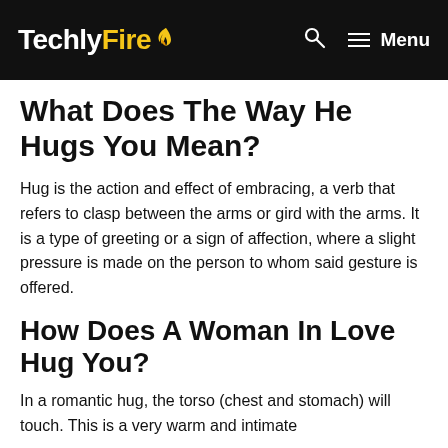TechlyFire — Menu
What Does The Way He Hugs You Mean?
Hug is the action and effect of embracing, a verb that refers to clasp between the arms or gird with the arms. It is a type of greeting or a sign of affection, where a slight pressure is made on the person to whom said gesture is offered.
How Does A Woman In Love Hug You?
In a romantic hug, the torso (chest and stomach) will touch. This is a very warm and intimate